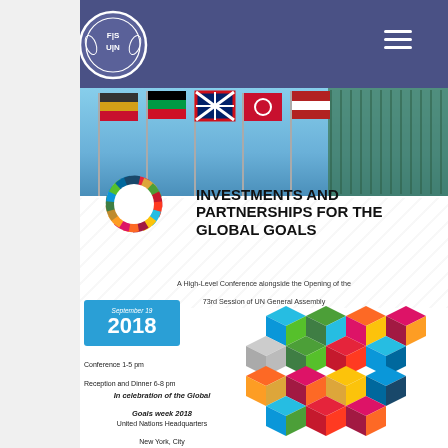[Figure (logo): FSUN organization logo — circular emblem with olive branches and F|S / U|N text in white on dark blue/purple background]
[Figure (photo): Row of international flags on poles in front of a glass skyscraper building under blue sky — UN Headquarters setting]
[Figure (logo): UN Sustainable Development Goals (SDG) color wheel — circular arrangement of 17 colored segments]
INVESTMENTS AND PARTNERSHIPS FOR THE GLOBAL GOALS
A High-Level Conference alongside the Opening of the 73rd Session of UN General Assembly
September 19
2018
Conference 1-5 pm
Reception and Dinner 6-8 pm
In celebration of the Global Goals week 2018
United Nations Headquarters
New York, City
[Figure (illustration): Colorful 3D cube mosaic graphic — arrangement of multi-colored cubes in blue, teal, green, orange, red, magenta, yellow forming a decorative block pattern]